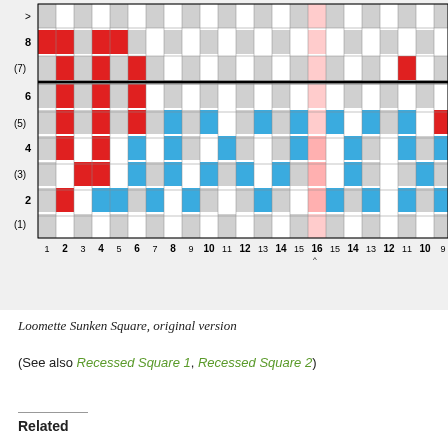[Figure (other): Weaving chart grid showing Loomette Sunken Square pattern. Grid with colored cells: red, blue/cyan, white, and gray cells arranged in a pattern. Y-axis labels: >, 8, (7), 6, (5), 4, (3), 2, (1). X-axis labels: 1, 2, 3, 4, 5, 6, 7, 8, 9, 10, 11, 12, 13, 14, 15, 16^, 15, 14, 13, 12, 11, 10, 9]
Loomette Sunken Square, original version
(See also Recessed Square 1, Recessed Square 2)
Related